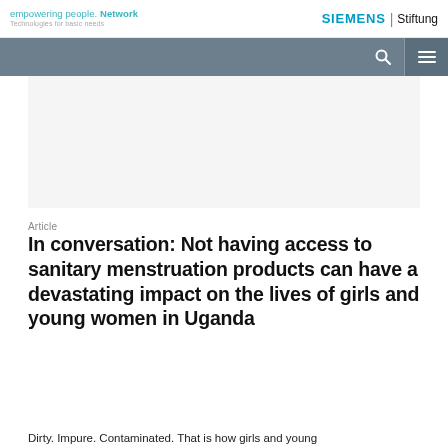empowering people. Network | Technologies for basic needs | SIEMENS Stiftung
[Figure (screenshot): Navigation bar with search and hamburger menu icons on grey background]
[Figure (photo): Article hero image area (blank/white placeholder)]
Article
In conversation: Not having access to sanitary menstruation products can have a devastating impact on the lives of girls and young women in Uganda
Dirty. Impure. Contaminated. That is how girls and young